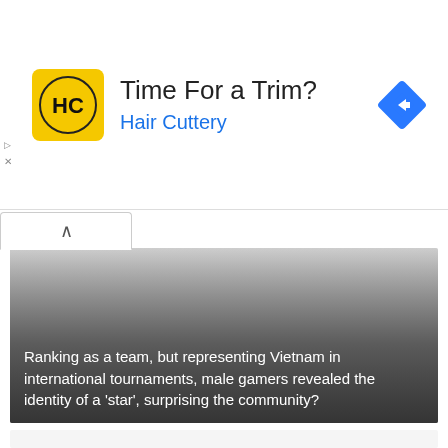[Figure (screenshot): Hair Cuttery advertisement banner with yellow logo showing HC letters, text 'Time For a Trim?' and 'Hair Cuttery' in blue, and a blue navigation diamond icon on the right]
[Figure (photo): Article thumbnail image with gradient overlay and white text reading: Ranking as a team, but representing Vietnam in international tournaments, male gamers revealed the identity of a 'star', surprising the community?]
Ranking as a team, but representing Vietnam in international tournaments, male gamers revealed the identity of a ‘star’, surprising the community?